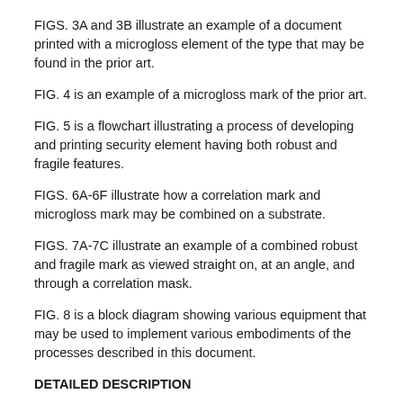FIGS. 3A and 3B illustrate an example of a document printed with a microgloss element of the type that may be found in the prior art.
FIG. 4 is an example of a microgloss mark of the prior art.
FIG. 5 is a flowchart illustrating a process of developing and printing security element having both robust and fragile features.
FIGS. 6A-6F illustrate how a correlation mark and microgloss mark may be combined on a substrate.
FIGS. 7A-7C illustrate an example of a combined robust and fragile mark as viewed straight on, at an angle, and through a correlation mask.
FIG. 8 is a block diagram showing various equipment that may be used to implement various embodiments of the processes described in this document.
DETAILED DESCRIPTION
This disclosure is not limited to the particular systems, devices and methods described, as these may vary. The